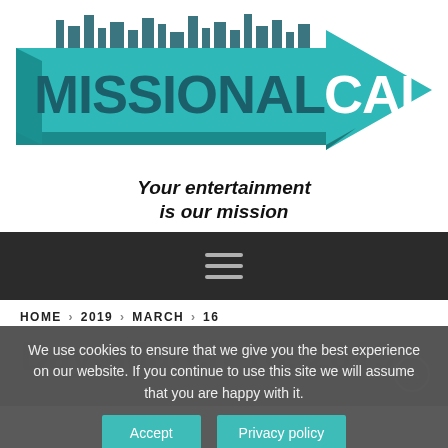[Figure (logo): Missional Call logo: a large teal 3D arrow pointing right with city skyline silhouette on top. Text 'MISSIONAL' in bold teal letters and 'CALL' in white letters on the arrow.]
Your entertainment is our mission
[Figure (screenshot): Dark navigation bar with hamburger menu icon (three horizontal lines) centered.]
HOME 2019 MARCH 16
Day: March 16, 2019
We use cookies to ensure that we give you the best experience on our website. If you continue to use this site we will assume that you are happy with it.
Accept   Privacy policy